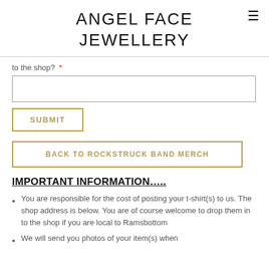ANGEL FACE JEWELLERY
to the shop? *
[text input field]
SUBMIT
BACK TO ROCKSTRUCK BAND MERCH
IMPORTANT INFORMATION…..
You are responsible for the cost of posting your t-shirt(s) to us. The shop address is below. You are of course welcome to drop them in to the shop if you are local to Ramsbottom
We will send you photos of your item(s) when